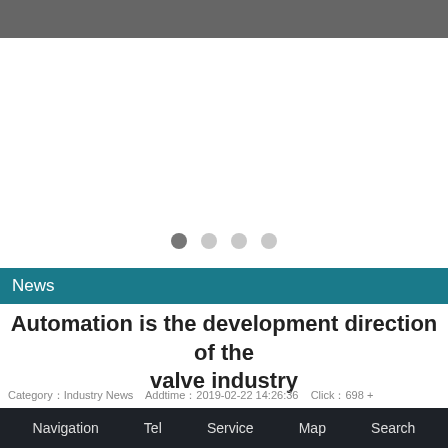[Figure (other): Slideshow/carousel image area with navigation dots below. Four dots indicating a 4-slide carousel; first dot active (darker), others inactive (lighter gray).]
News
Automation is the development direction of the valve industry
Category：Industry News   Addtime：2019-02-22 14:26:36   Click：698 +
Navigation   Tel   Service   Map   Search